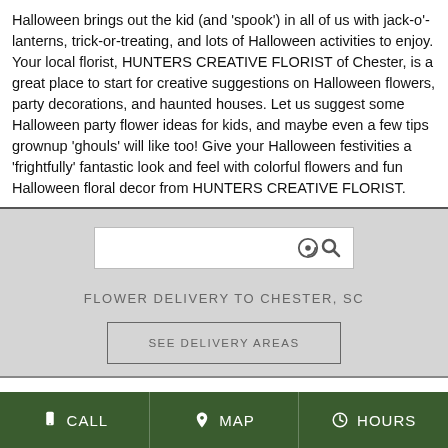Halloween brings out the kid (and 'spook') in all of us with jack-o'-lanterns, trick-or-treating, and lots of Halloween activities to enjoy. Your local florist, HUNTERS CREATIVE FLORIST of Chester, is a great place to start for creative suggestions on Halloween flowers, party decorations, and haunted houses. Let us suggest some Halloween party flower ideas for kids, and maybe even a few tips grownup 'ghouls' will like too! Give your Halloween festivities a 'frightfully' fantastic look and feel with colorful flowers and fun Halloween floral decor from HUNTERS CREATIVE FLORIST.
[Figure (screenshot): Search bar with magnifying glass icon on gray background]
FLOWER DELIVERY TO CHESTER, SC
SEE DELIVERY AREAS
CALL   MAP   HOURS